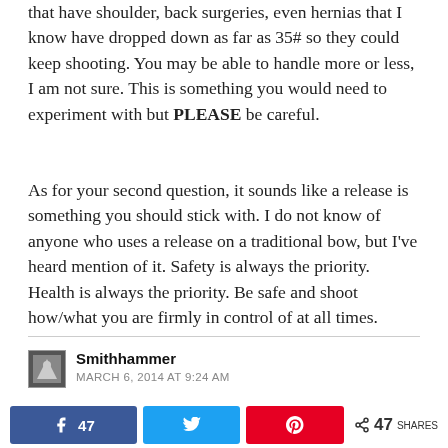that have shoulder, back surgeries, even hernias that I know have dropped down as far as 35# so they could keep shooting. You may be able to handle more or less, I am not sure. This is something you would need to experiment with but PLEASE be careful.
As for your second question, it sounds like a release is something you should stick with. I do not know of anyone who uses a release on a traditional bow, but I've heard mention of it. Safety is always the priority. Health is always the priority. Be safe and shoot how/what you are firmly in control of at all times.
Smithhammer
MARCH 6, 2014 AT 9:24 AM
47  < 47 SHARES